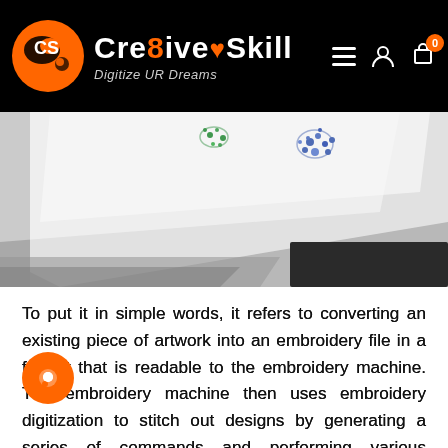CreativeSkill — Digitize UR Dreams
[Figure (photo): Close-up photo of fabric on an embroidery machine with blue and green embroidered designs visible on white material]
To put it in simple words, it refers to converting an existing piece of artwork into an embroidery file in a format that is readable to the embroidery machine. The embroidery machine then uses embroidery digitization to stitch out designs by generating a series of commands and performing various functions. Digitizing embroidery is a complex mechanism that involves thorough knowledge of physical as well as technical attributes of machine embroidery. It requires an in-depth understanding of the stitch types